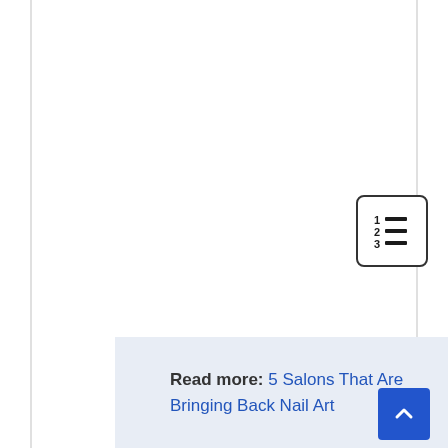[Figure (other): Table of contents / numbered list icon button in a rounded rectangle border]
Read more: 5 Salons That Are Bringing Back Nail Art